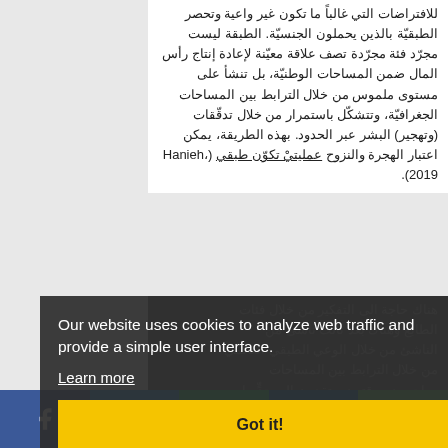للافتراضات التي غالباً ما تكون غير واعية وتحصر الطبقيّة بالذين يحملون الجنسيّة. الطبقة ليست مجرّد فئة مجرّدة تصف علاقة معيّنة لإعادة إنتاج رأس المال ضمن المساحات الوطنيّة، بل تنشأ على مستوى ملموس من خلال الترابط بين المساحات الجغرافيّة، وتتشكّل باستمرار من خلال تدقّقات (وتهجير) البشر عبر الحدود. بهذه الطريقة، يمكن اعتبار الهجرة والنزوح عمليتيْ تكوّن طبقي (Hanieh، 2019).
هناك حاجة الى التفكير من خلال فئات عالميّة الطابع. وهناك بُعد ثالث ناشئ من خلال الوعي الطبقي العالمي الذي يعمل من خلال الترابط بين المساحات الجغرافيّة. مهاجرون موقتون يعتقدون الى حدٍّ ما بأنهم عمال من الطبقة العاملة في المطبخ والكنس.
Our website uses cookies to analyze web traffic and provide a simple user interface.
Learn more
Got it!